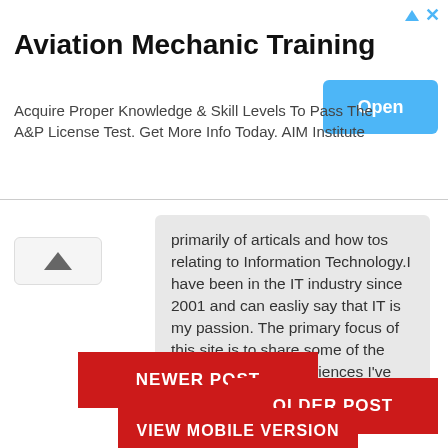[Figure (screenshot): Advertisement banner for Aviation Mechanic Training with 'Open' button, triangle icon, and X close icon]
Aviation Mechanic Training
Acquire Proper Knowledge & Skill Levels To Pass The A&P License Test. Get More Info Today. AIM Institute
primarily of articals and how tos relating to Information Technology.I have been in the IT industry since 2001 and can easliy say that IT is my passion. The primary focus of this site is to share some of the knowledge and experiences I've gained.
NEWER POST
OLDER POST
VIEW MOBILE VERSION